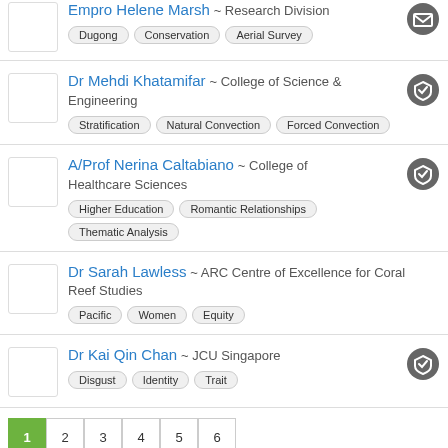Empro Helene Marsh ~ Research Division | Tags: Dugong, Conservation, Aerial Survey
Dr Mehdi Khatamifar ~ College of Science & Engineering | Tags: Stratification, Natural Convection, Forced Convection
A/Prof Nerina Caltabiano ~ College of Healthcare Sciences | Tags: Higher Education, Romantic Relationships, Thematic Analysis
Dr Sarah Lawless ~ ARC Centre of Excellence for Coral Reef Studies | Tags: Pacific, Women, Equity
Dr Kai Qin Chan ~ JCU Singapore | Tags: Disgust, Identity, Trait
Contacts